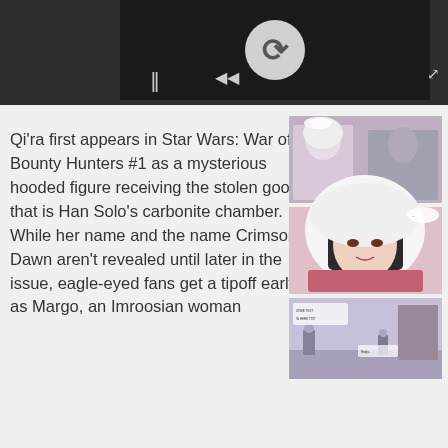[Figure (screenshot): Dark video player interface with a circular reload/buffering button (stylized C), pause icon (two vertical bars), rewind icon, and expand icon in the corner]
Qi'ra first appears in Star Wars: War of the Bounty Hunters #1 as a mysterious hooded figure receiving the stolen good that is Han Solo's carbonite chamber. While her name and the name Crimson Dawn aren't revealed until later in the issue, eagle-eyed fans get a tipoff early on as Margo, an Imroosian woman
[Figure (illustration): Three stacked comic book panels showing a hooded white-cloaked figure (Qi'ra) in close-up scenes: top panel shows two figures talking at a doorway, middle panel shows a close-up of Qi'ra's face with dark hair and white hood, bottom panel shows figures in a wider scene]